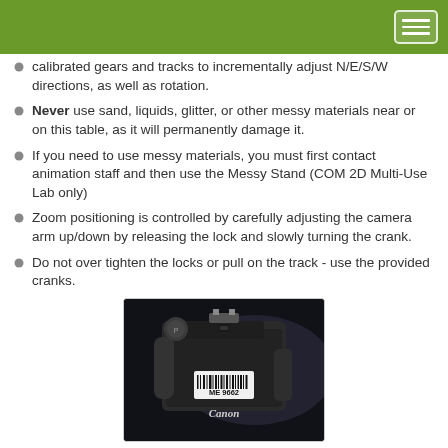calibrated gears and tracks to incrementally adjust N/E/S/W directions, as well as rotation.
Never use sand, liquids, glitter, or other messy materials near or on this table, as it will permanently damage it.
If you need to use messy materials, you must first contact animation staff and then use the Messy Stand (COM 2D Multi-Use Lab only)
Zoom positioning is controlled by carefully adjusting the camera arm up/down by releasing the lock and slowly turning the crank.
Do not over tighten the locks or pull on the track - use the provided cranks.
[Figure (photo): Top-down view of a Canon DSLR camera body with a barcode label reading ME 9662]